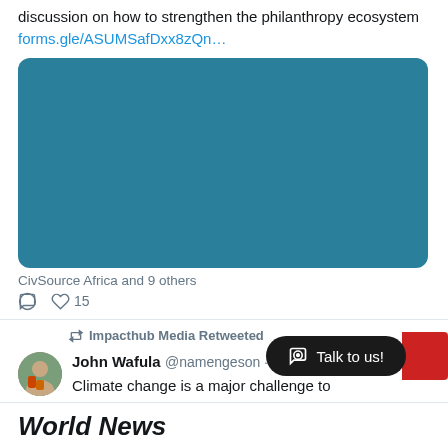discussion on how to strengthen the philanthropy ecosystem forms.gle/ASUMSafDxx8zQn…
[Figure (other): Teal/dark cyan colored rectangular image placeholder with rounded corners]
CivSource Africa and 9 others
♡ 15
Impacthub Media Retweeted
[Figure (photo): Avatar photo of John Wafula showing person outdoors]
John Wafula @namengeson · Mar 8
Climate change is a major challenge to
Talk to us!
World News